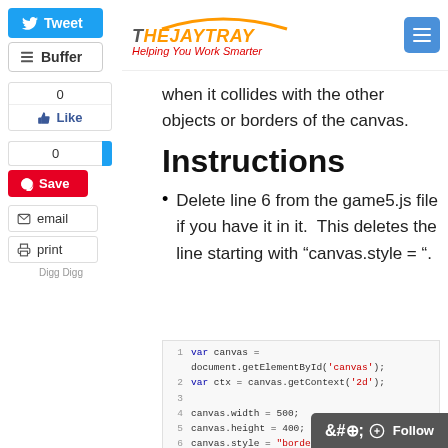[Figure (logo): TheJayTray logo with orange arc and tagline 'Helping You Work Smarter']
[Figure (screenshot): Social media share buttons: Tweet, Buffer, Like (0), share count (0), Save (Pinterest), email, print, Digg Digg]
when it collides with the other objects or borders of the canvas.
Instructions
Delete line 6 from the game5.js file if you have it in it. This deletes the line starting with “canvas.style = “.
1  var canvas = document.getElementById('canvas');
2  var ctx = canvas.getContext('2d');
3
4  canvas.width = 500;
5  canvas.height = 400;
6  canvas.style = "border: 1px solid black";
7